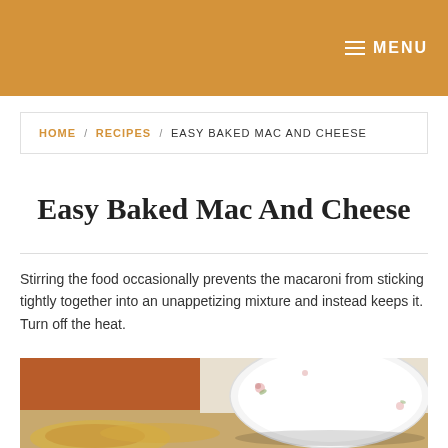MENU
HOME / RECIPES / EASY BAKED MAC AND CHEESE
Easy Baked Mac And Cheese
Stirring the food occasionally prevents the macaroni from sticking tightly together into an unappetizing mixture and instead keeps it. Turn off the heat.
[Figure (photo): A photo of a plate with floral decoration, with mac and cheese in the foreground, on a wooden table with orange background]